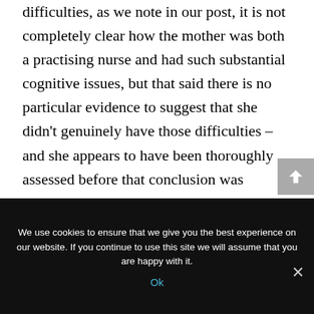difficulties, as we note in our post, it is not completely clear how the mother was both a practising nurse and had such substantial cognitive issues, but that said there is no particular evidence to suggest that she didn't genuinely have those difficulties – and she appears to have been thoroughly assessed before that conclusion was reached. We suggest some possible explanations for the apparent oddity in our post.
We use cookies to ensure that we give you the best experience on our website. If you continue to use this site we will assume that you are happy with it.
Ok